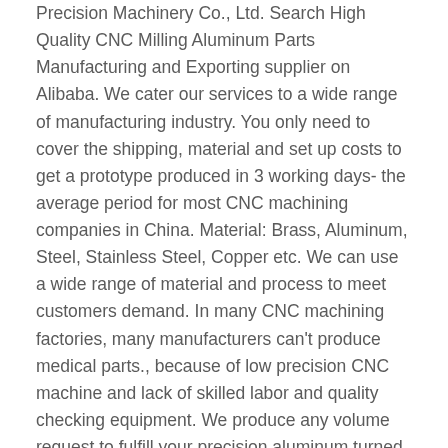Precision Machinery Co., Ltd. Search High Quality CNC Milling Aluminum Parts Manufacturing and Exporting supplier on Alibaba. We cater our services to a wide range of manufacturing industry. You only need to cover the shipping, material and set up costs to get a prototype produced in 3 working days- the average period for most CNC machining companies in China. Material: Brass, Aluminum, Steel, Stainless Steel, Copper etc. We can use a wide range of material and process to meet customers demand. In many CNC machining factories, many manufacturers can't produce medical parts., because of low precision CNC machine and lack of skilled labor and quality checking equipment. We produce any volume request to fulfill your precision aluminum turned parts needs, custom machined parts, alu fixings, special alu fasteners demands. All tooling and fixturing is designed and fabricated in house, which allows us to provide our clients with Rapid Development and prototyping services. Alibaba offers 249,550 precision cnc machining aluminum products. The CNC Machining China offers a many range of the advantage such as repeatable, Economical, fast...